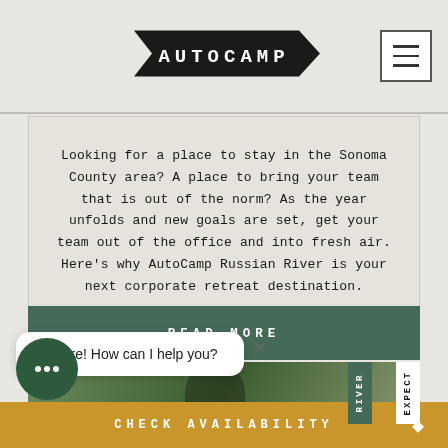[Figure (logo): AutoCamp logo — white text on black arrow/banner shape pointing right]
Looking for a place to stay in the Sonoma County area? A place to bring your team that is out of the norm? As the year unfolds and new goals are set, get your team out of the office and into fresh air. Here's why AutoCamp Russian River is your next corporate retreat destination.
READ MORE
Hi there! How can I help you?
CHECK AVAILABILITY